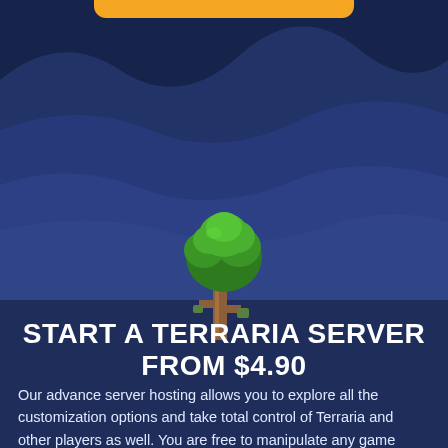[Figure (illustration): Dark navy blue background with layered mountain/hill wave shapes in slightly lighter blue tones creating a landscape silhouette across the upper portion of the page.]
[Figure (illustration): Pixel-art style Terraria tree sprite with green leafy canopy and brown trunk, centered in the middle of the page.]
START A TERRARIA SERVER FROM $4.90
Our advance server hosting allows you to explore all the customization options and take total control of Terraria and other players as well. You are free to manipulate any game settings to suit your requirements without any